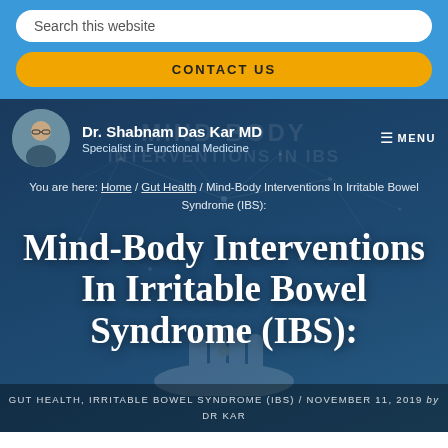Search this website
CONTACT US
[Figure (screenshot): Website header with profile photo of Dr. Shabnam Das Kar MD, navigation menu, breadcrumb, and hero title for article about Mind-Body Interventions In Irritable Bowel Syndrome (IBS)]
Dr. Shabnam Das Kar MD
Specialist in Functional Medicine
You are here: Home / Gut Health / Mind-Body Interventions In Irritable Bowel Syndrome (IBS):
Mind-Body Interventions In Irritable Bowel Syndrome (IBS):
GUT HEALTH, IRRITABLE BOWEL SYNDROME (IBS) / NOVEMBER 11, 2019 by DR KAR